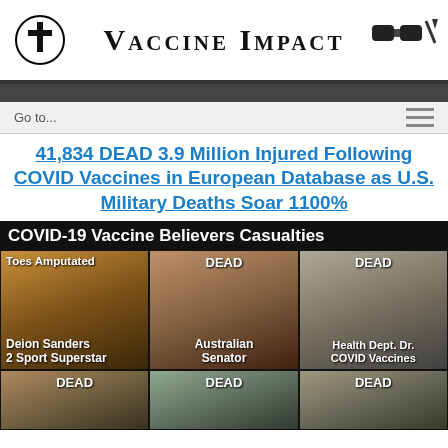VACCINE IMPACT
Go to...
41,834 DEAD 3.9 Million Injured Following COVID Vaccines in European Database as U.S. Military Deaths Soar 1100%
[Figure (infographic): COVID-19 Vaccine Believers Casualties infographic showing a 2x3 grid of photos with labels. Row 1: Deion Sanders 2 Sport Superstar (Toes Amputated), Australian Senator (DEAD), Health Dept. Dr. COVID Vaccines (DEAD). Row 2: three more photos each labeled DEAD.]